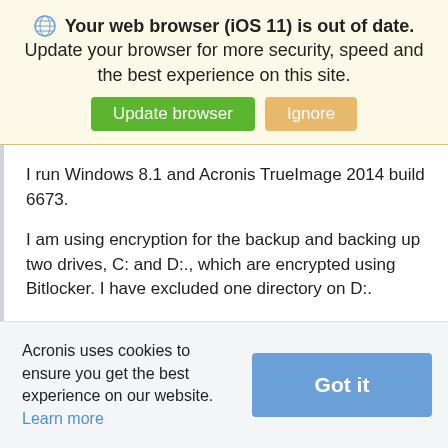Your web browser (iOS 11) is out of date. Update your browser for more security, speed and the best experience on this site.
I run Windows 8.1 and Acronis TrueImage 2014 build 6673.
I am using encryption for the backup and backing up two drives, C: and D:., which are encrypted using Bitlocker. I have excluded one directory on D:.
The exclusion stopped working after I installed Windows 8.1 Update 1, the version leaked by
Acronis uses cookies to ensure you get the best experience on our website. Learn more